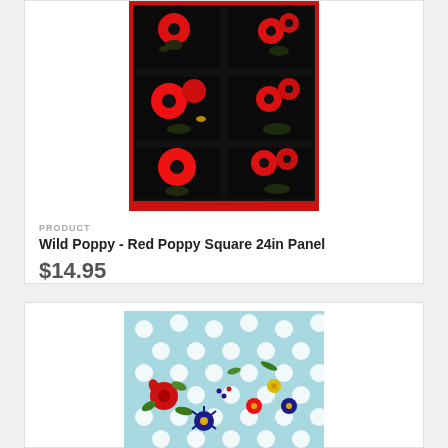[Figure (photo): Wild Poppy Red Poppy Square 24in Panel fabric showing a 3x2 grid of red poppy flowers on black background with red border]
PRODUCT
Wild Poppy - Red Poppy Square 24in Panel
$14.95
[Figure (photo): Light blue fabric with white polka dots and colorful floral pattern featuring red, navy, yellow, and green flowers]